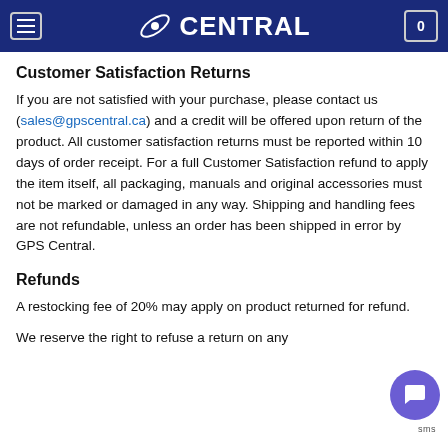CENTRAL
Customer Satisfaction Returns
If you are not satisfied with your purchase, please contact us (sales@gpscentral.ca) and a credit will be offered upon return of the product.  All customer satisfaction returns must be reported within 10 days of order receipt.  For a full Customer Satisfaction refund to apply the item itself, all packaging, manuals and original accessories must not be marked or damaged in any way. Shipping and handling fees are not refundable, unless an order has been shipped in error by GPS Central.
Refunds
A restocking fee of 20% may apply on product returned for refund.
We reserve the right to refuse a return on any